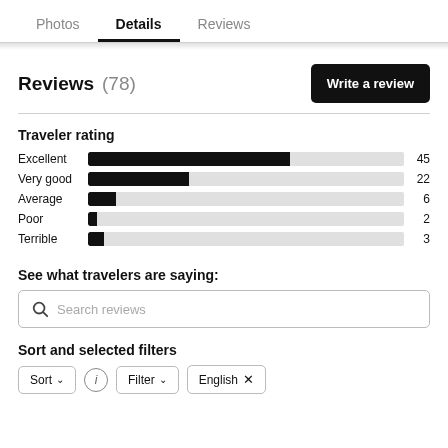Photos  Details  Reviews
Reviews (78)
Traveler rating
[Figure (bar-chart): Traveler rating]
See what travelers are saying:
Search reviews
Sort and selected filters
Sort  (i)  Filter  English ×